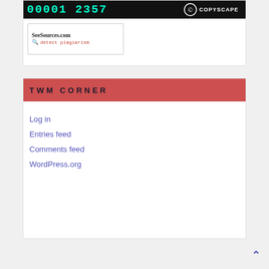[Figure (screenshot): Website counter showing '00001 2357' in green digits on black background alongside a Copyscape protected badge]
[Figure (logo): SeeSources.com detect plagiarism badge with small icon]
TWM CORNER
Log in
Entries feed
Comments feed
WordPress.org